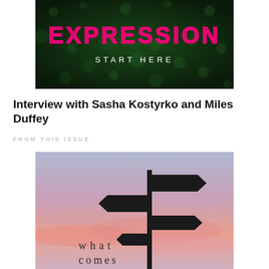[Figure (illustration): Dark green textured background with neon pink text 'EXPRESSION' and below it 'START HERE' in white spaced letters]
Interview with Sasha Kostyrko and Miles Duffey
FROM THIS ISSUE
[Figure (photo): Sunset sky with pink and purple hues, silhouette of a signpost with multiple directional signs pointing different directions. Handwritten text 'what comes' overlaid in lower left area]